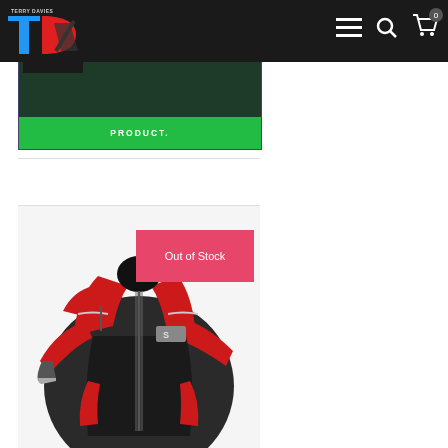[Figure (screenshot): Dark motorcycle gear website navbar with Terry Davies logo (TD), hamburger menu, search icon, and cart icon showing 0 items]
[Figure (screenshot): Product card with dark green background showing 'SELECT OPTIONS', 'WHATSAPP VIDEO', 'HOW TO SEE LIVE PRODUCT.' text and a green button at bottom]
[Figure (photo): Red and black motorcycle jacket (Scott brand) displayed on a mannequin/model, with an 'Out of Stock' pink/red badge overlay in the upper right of the product image]
Out of Stock